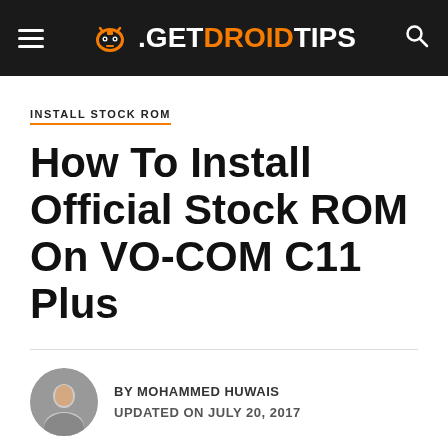GetDroidTips — navigation header
INSTALL STOCK ROM
How To Install Official Stock ROM On VO-COM C11 Plus
BY MOHAMMED HUWAIS
UPDATED ON JULY 20, 2017